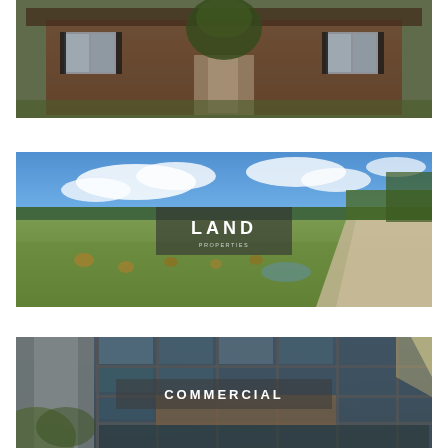[Figure (photo): Brick house exterior with white-framed windows and dark shutters, viewed from front, with trees in background]
[Figure (photo): Open green field/farmland with hay bales under a partly cloudy blue sky, with a gravel road on the right side and trees on the edges. Overlay label: LAND]
[Figure (photo): Modern commercial glass building exterior with large curtain wall windows and a concrete column in foreground, sun flare visible. Overlay label: COMMERCIAL]